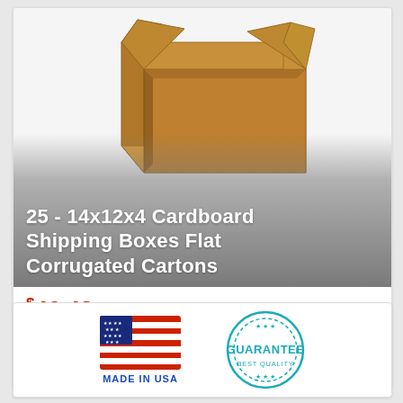[Figure (photo): Open corrugated cardboard shipping box viewed from above at an angle, tan/brown color, on white background. Below the box is a gradient gray overlay with white bold product title text.]
25 - 14x12x4 Cardboard Shipping Boxes Flat Corrugated Cartons
$46.48
Buy It Now
Free Shipping
Condition: New
Location: Batavia, United States
14" x 12" x 4". 14" Length x 12" Width x 4" Height.
[Figure (logo): Made in USA badge with American flag illustration and blue text 'MADE IN USA' below]
[Figure (logo): Circular stamp-style guarantee badge in teal/cyan color reading 'GUARANTEE BEST QUALITY' with stars]